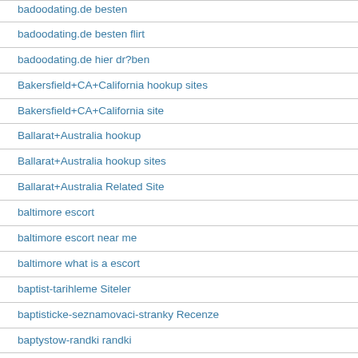badoodating.de besten
badoodating.de besten flirt
badoodating.de hier dr?ben
Bakersfield+CA+California hookup sites
Bakersfield+CA+California site
Ballarat+Australia hookup
Ballarat+Australia hookup sites
Ballarat+Australia Related Site
baltimore escort
baltimore escort near me
baltimore what is a escort
baptist-tarihleme Siteler
baptisticke-seznamovaci-stranky Recenze
baptystow-randki randki
Barrie+Canada hookup sites